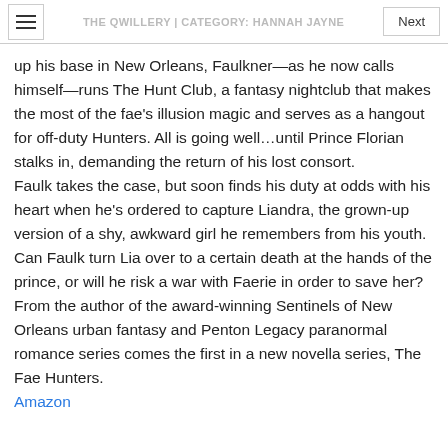THE QWILLERY | CATEGORY: HANNAH JAYNE
up his base in New Orleans, Faulkner—as he now calls himself—runs The Hunt Club, a fantasy nightclub that makes the most of the fae's illusion magic and serves as a hangout for off-duty Hunters. All is going well…until Prince Florian stalks in, demanding the return of his lost consort.
Faulk takes the case, but soon finds his duty at odds with his heart when he's ordered to capture Liandra, the grown-up version of a shy, awkward girl he remembers from his youth. Can Faulk turn Lia over to a certain death at the hands of the prince, or will he risk a war with Faerie in order to save her?
From the author of the award-winning Sentinels of New Orleans urban fantasy and Penton Legacy paranormal romance series comes the first in a new novella series, The Fae Hunters.
Amazon